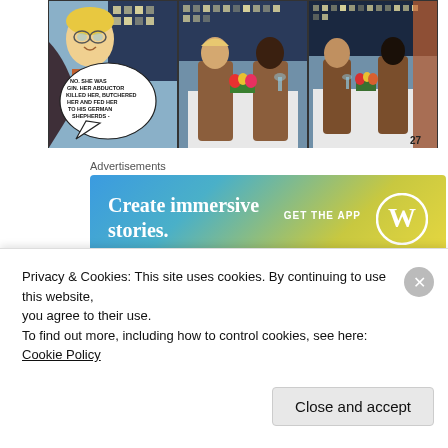[Figure (illustration): Comic book strip with three panels. Left panel shows a blonde man with glasses and a speech bubble reading 'NO. SHE WAS GIN. HER ABDUCTOR KILLED HER, BUTCHERED HER AND FED HER TO HIS GERMAN SHEPHERDS -'. Middle panel shows two people at a restaurant table with flowers. Right panel shows two people at a restaurant table from a different angle. Page number 27 in bottom right.]
Advertisements
[Figure (screenshot): Advertisement banner with blue to yellow gradient background. Text reads 'Create immersive stories.' with 'GET THE APP' and WordPress logo on the right.]
We're supposed to see his burst of candor as slippage, a transgression against normalcy brought on by
Privacy & Cookies: This site uses cookies. By continuing to use this website, you agree to their use.
To find out more, including how to control cookies, see here: Cookie Policy
Close and accept